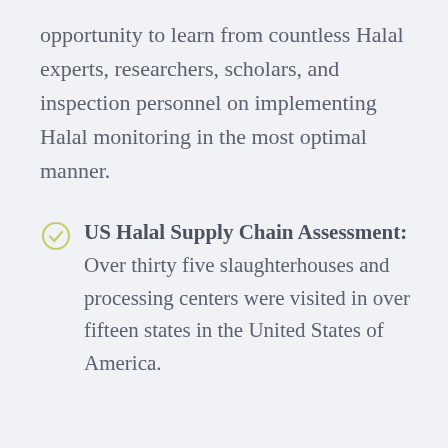opportunity to learn from countless Halal experts, researchers, scholars, and inspection personnel on implementing Halal monitoring in the most optimal manner.
US Halal Supply Chain Assessment: Over thirty five slaughterhouses and processing centers were visited in over fifteen states in the United States of America.